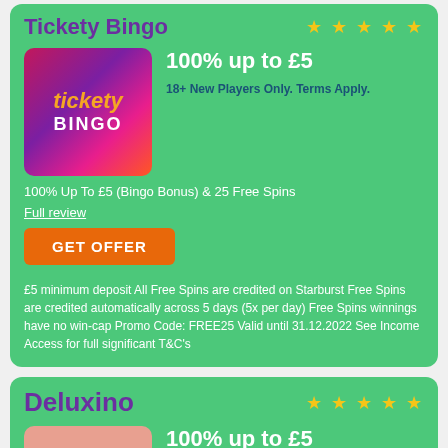Tickety Bingo
[Figure (logo): Tickety Bingo logo on purple-pink gradient background]
100% up to £5
18+ New Players Only. Terms Apply.
100% Up To £5 (Bingo Bonus) & 25 Free Spins
Full review
GET OFFER
£5 minimum deposit All Free Spins are credited on Starburst Free Spins are credited automatically across 5 days (5x per day) Free Spins winnings have no win-cap Promo Code: FREE25 Valid until 31.12.2022 See Income Access for full significant T&C's
Deluxino
[Figure (logo): Deluxino logo placeholder]
100% up to £5